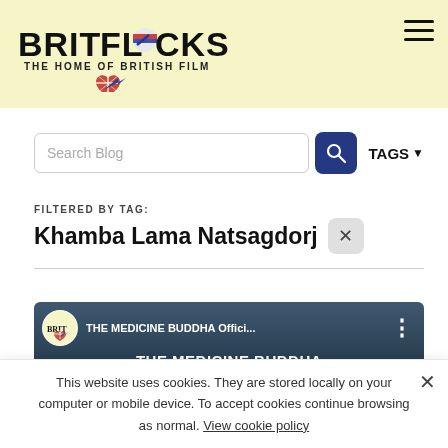[Figure (logo): Britflicks logo with Union Jack heart graphic and tagline THE HOME OF BRITISH FILM]
Search Blog
TAGS ▼
FILTERED BY TAG:
Khamba Lama Natsagdorj
[Figure (screenshot): YouTube-style video thumbnail for THE MEDICINE BUDDHA Official... showing Britflicks logo, video title and THE MEDICINE BUDDHA subtitle on dark blue-grey background]
This website uses cookies. They are stored locally on your computer or mobile device. To accept cookies continue browsing as normal. View cookie policy